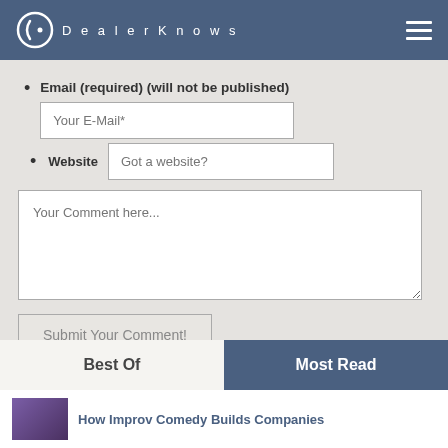DealerKnows
Email (required) (will not be published)
Website
Your Comment here...
Submit Your Comment!
Best Of
Most Read
How Improv Comedy Builds Companies